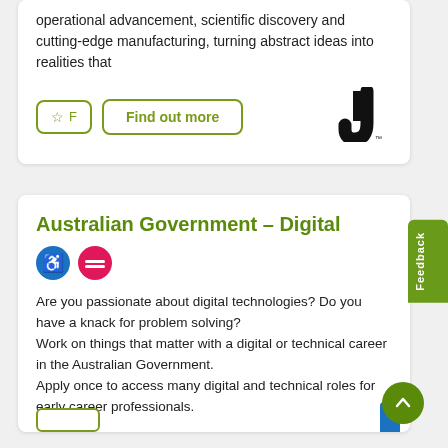operational advancement, scientific discovery and cutting-edge manufacturing, turning abstract ideas into realities that
[Figure (logo): Bold black J-shaped logo with a small trademark symbol]
Australian Government - Digital
[Figure (illustration): Blue circle icon with accessibility symbol and pink/red circle icon with equal sign]
Are you passionate about digital technologies? Do you have a knack for problem solving? Work on things that matter with a digital or technical career in the Australian Government. Apply once to access many digital and technical roles for early career professionals.